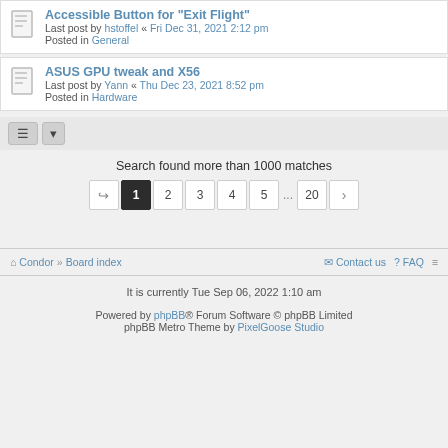Accessible Button for "Exit Flight"
Last post by hstoffel « Fri Dec 31, 2021 2:12 pm
Posted in General
ASUS GPU tweak and X56
Last post by Yann « Thu Dec 23, 2021 8:52 pm
Posted in Hardware
Search found more than 1000 matches
Pagination: ↪ 1 2 3 4 5 ... 20 ›
⌂ Condor » Board index    ✉ Contact us  ? FAQ  ≡
It is currently Tue Sep 06, 2022 1:10 am
Powered by phpBB® Forum Software © phpBB Limited
phpBB Metro Theme by PixelGoose Studio